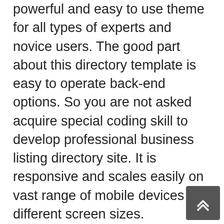powerful and easy to use theme for all types of experts and novice users. The good part about this directory template is easy to operate back-end options. So you are not asked acquire special coding skill to develop professional business listing directory site. It is responsive and scales easily on vast range of mobile devices and different screen sizes.